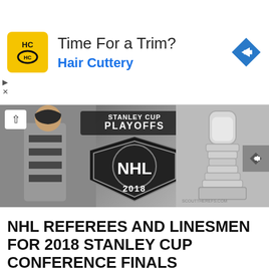[Figure (screenshot): Hair Cuttery advertisement banner with yellow HC logo, text 'Time For a Trim?' and 'Hair Cuttery', blue navigation arrow icon on right]
[Figure (photo): NHL Stanley Cup Playoffs 2018 banner image showing referee in black and white stripes on left, NHL Stanley Cup Playoffs 2018 shield logo in center, and Stanley Cup trophy on right with scouttherefs.com watermark]
NHL REFEREES AND LINESMEN FOR 2018 STANLEY CUP CONFERENCE FINALS
5.11.18
[Figure (photo): Hockey game action photo showing players on ice with orange Flyers jerseys, BUD LIGHT advertising board visible, Honda and casino signage in background]